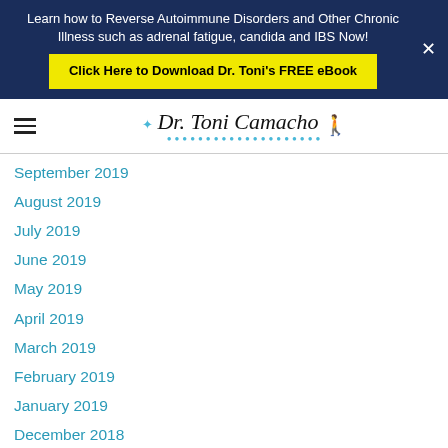Learn how to Reverse Autoimmune Disorders and Other Chronic Illness such as adrenal fatigue, candida and IBS Now!
Click Here to Download Dr. Toni's FREE eBook
[Figure (logo): Dr. Toni Camacho logo with stylized script text and dancer silhouette]
September 2019
August 2019
July 2019
June 2019
May 2019
April 2019
March 2019
February 2019
January 2019
December 2018
November 2018
October 2018
September 2018